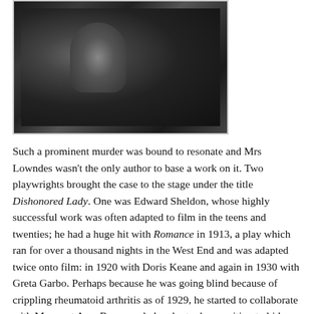[Figure (photo): Black and white photograph showing people in what appears to be an indoor setting, partially cropped at top of page]
Such a prominent murder was bound to resonate and Mrs Lowndes wasn't the only author to base a work on it. Two playwrights brought the case to the stage under the title Dishonored Lady. One was Edward Sheldon, whose highly successful work was often adapted to film in the teens and twenties; he had a huge hit with Romance in 1913, a play which ran for over a thousand nights in the West End and was adapted twice onto film: in 1920 with Doris Keane and again in 1930 with Greta Garbo. Perhaps because he was going blind because of crippling rheumatoid arthritis as of 1929, he started to collaborate with Margaret Ayer Barnes, a lady who took up writing to bide her time while recovering from a traffic accident which broke her back. She did pretty well at it; she won the Pulitzer Prize for her debut novel, Years of Grace. That was in 1931, after Sheldon had retired. Dishonored Lady was his last hurrah but just a beginning for her. It was also directly adapted to film, but much later, in